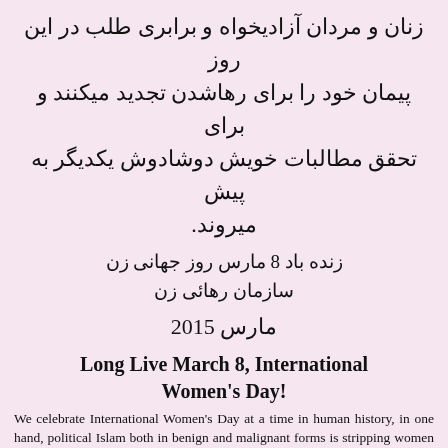زنان و مردان آزادیخواه و برابری طلب در این روز پیمان خود را برای رهاشدن تجدید میکنند و برای تحقق مطالبات خویش دوشادوش یکدیگر به پیش میروند.
زنده باد 8 مارس روز جهانی زن
سازمان رهائی زن
مارس 2015
Long Live March 8, International Women's Day!
We celebrate International Women's Day at a time in human history, in one hand, political Islam both in benign and malignant forms is stripping women of their basic human rights wherever they have been able to impose Sharia law, from Iran to Islamic States controlled areas. In other parts of the world also women are still suffering from socio-economic inequality. In the other hand we are witnessing Emancipation of women movement is fighting the reactionary Islamic repressions and inequality around the world in short and is the hallmark of modern and equality...